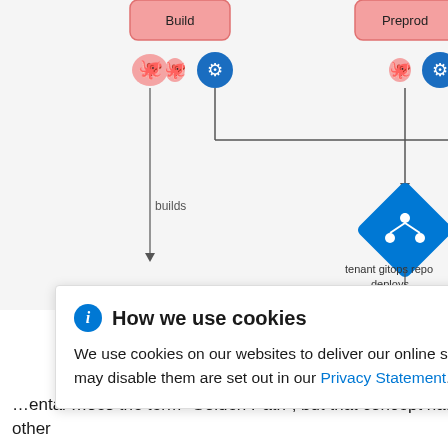[Figure (flowchart): GitOps pipeline flowchart showing Build, Preprod, Prod environments at top with Helm/Kubernetes icons, connecting lines downward to a central Azure Repos (git) diamond icon labeled 'tenant gitops repo', with 'builds' label on left and 'deploys' label branching to three destination icons at bottom (Azure and Flux CD icons).]
How we use cookies
We use cookies on our websites to deliver our online services. Details about how we use cookies and how you may disable them are set out in our Privacy Statement. By using this website you agree to our use of cookies.
...ental ...ses the term “Golden Path”, but that concept has other